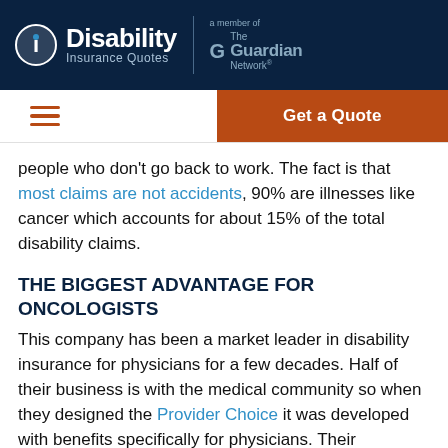Disability Insurance Quotes | a member of The Guardian Network
Get a Quote
people who don't go back to work. The fact is that most claims are not accidents, 90% are illnesses like cancer which accounts for about 15% of the total disability claims.
THE BIGGEST ADVANTAGE FOR ONCOLOGISTS
This company has been a market leader in disability insurance for physicians for a few decades. Half of their business is with the medical community so when they designed the Provider Choice it was developed with benefits specifically for physicians. Their enhanced true own-occupation